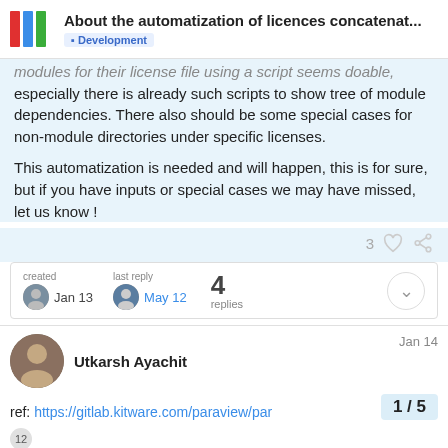About the automatization of licences concatenat... Development
modules for their license file using a script seems doable, especially there is already such scripts to show tree of module dependencies. There also should be some special cases for non-module directories under specific licenses.
This automatization is needed and will happen, this is for sure, but if you have inputs or special cases we may have missed, let us know !
3 ♡ 🔗
created Jan 13  last reply May 12  4 replies
Utkarsh Ayachit  Jan 14
ref: https://gitlab.kitware.com/paraview/par
1 / 5